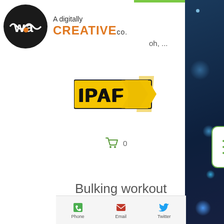[Figure (logo): Web Agency logo: dark circle with 'wa' letters and orange dot, beside text 'A digitally CREATIVE co.']
oh, ...
[Figure (logo): IPAF logo: yellow rectangle with black bold letters IPAF and an arrow]
[Figure (other): Shopping cart icon with count 0]
[Figure (other): Hamburger menu button with green border and three green lines]
Bulking workout
ectomorph, crazybulk
[Figure (other): Bottom navigation bar with Phone, Email, Twitter icons]